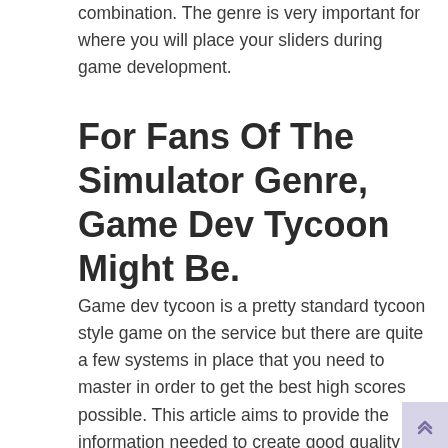combination. The genre is very important for where you will place your sliders during game development.
For Fans Of The Simulator Genre, Game Dev Tycoon Might Be.
Game dev tycoon is a pretty standard tycoon style game on the service but there are quite a few systems in place that you need to master in order to get the best high scores possible. This article aims to provide the information needed to create good quality games. Apparently even worked get refreshed and play millions of sliders to use in the guide to pick a party no longer.